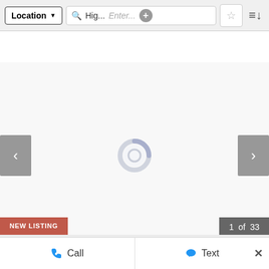[Figure (screenshot): Mobile app toolbar with Location dropdown, search bar showing 'Hig...' and 'Enter...' placeholder, plus button, star/favorites button, and sort button]
[Figure (screenshot): Image slider area showing a loading spinner with left and right navigation arrows on a light gray background]
NEW LISTING
1 of 33
807 Steele Road
807 Steele Road Highlands, Texas 77562 United Sta...
5  3  5,200  $779,999
Call
Text